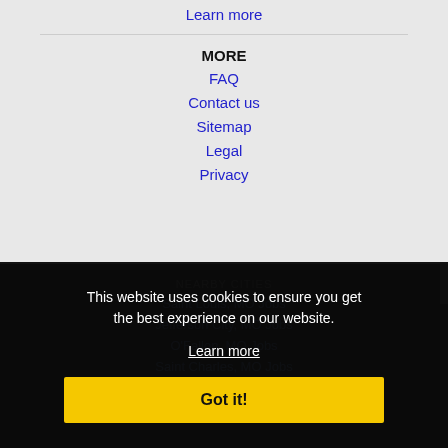Learn more
MORE
FAQ
Contact us
Sitemap
Legal
Privacy
NEARBY CITIES
Saint Louis, MO Jobs
Jefferson City, MO Jobs
O'Fallon, MO Jobs
Saint Charles, MO Jobs
Saint Peters, MO Jobs
This website uses cookies to ensure you get the best experience on our website. Learn more Got it!